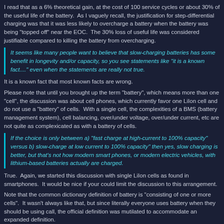I read that as a 6% theoretical gain, at the cost of 100 service cycles or about 30% of the useful life of the battery. As I vaguely recall, the justification for step-differential charging was that it was less likely to overcharge a battery when the battery was being "topped off" near the EOC. The 30% loss of useful life was considered justifiable compared to killing the battery from overcharging.
It seems like many people want to believe that slow-charging batteries has some benefit in longevity and/or capacity, so you see statements like "it is a known fact...." even when the statements are really not true.
It is a known fact that most known facts are wrong.
Please note that until you brought up the term "battery", which means more than one "cell", the discussion was about cell phones, which currently favor one LiIon cell and do not use a "battery" of cells. With a single cell, the complexities of a BMS (battery management system), cell balancing, over/under voltage, over/under current, etc are not quite as complexicated as with a battery of cells.
If the choice is only between a) "fast charge at high-current to 100% capacity" versus b) slow-charge at low current to 100% capacity" then yes, slow charging is better, but that's not how modern smart phones, or modern electric vehicles, with lithium-based batteries actually are charged.
True. Again, we started this discussion with single LiIon cells as found in smartphones. It would be nice if your could limit the discussion to this arrangement.
Note that the common dictionary definition of battery is "consisting of one or more cells". It wasn't always like that, but since literally everyone uses battery when they should be using call, the official definition was mutilated to accommodate an expanded definition.
--
Jeff Liebermann   jeffl@cruzio.com
PO Box 272   http://www.LearnByDestroying.com